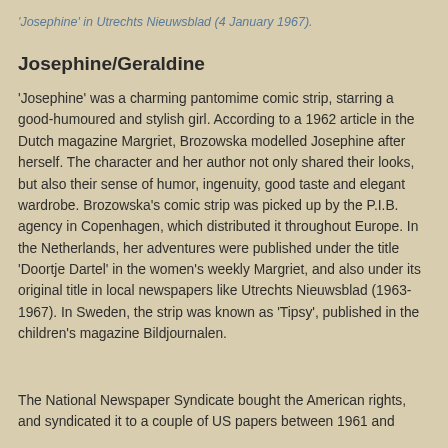'Josephine' in Utrechts Nieuwsblad (4 January 1967).
Josephine/Geraldine
'Josephine' was a charming pantomime comic strip, starring a good-humoured and stylish girl. According to a 1962 article in the Dutch magazine Margriet, Brozowska modelled Josephine after herself. The character and her author not only shared their looks, but also their sense of humor, ingenuity, good taste and elegant wardrobe. Brozowska’s comic strip was picked up by the P.I.B. agency in Copenhagen, which distributed it throughout Europe. In the Netherlands, her adventures were published under the title ‘Doortje Dartel’ in the women’s weekly Margriet, and also under its original title in local newspapers like Utrechts Nieuwsblad (1963-1967). In Sweden, the strip was known as ‘Tipsy’, published in the children’s magazine Bildjournalen.
The National Newspaper Syndicate bought the American rights, and syndicated it to a couple of US papers between 1961 and